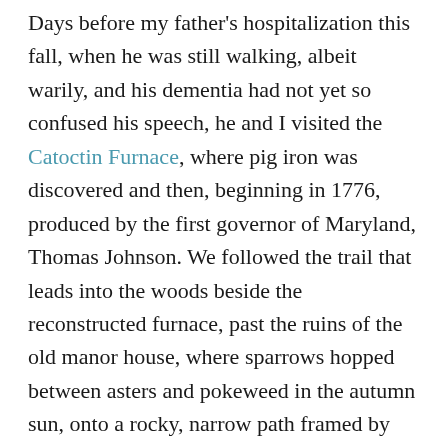Days before my father's hospitalization this fall, when he was still walking, albeit warily, and his dementia had not yet so confused his speech, he and I visited the Catoctin Furnace, where pig iron was discovered and then, beginning in 1776, produced by the first governor of Maryland, Thomas Johnson. We followed the trail that leads into the woods beside the reconstructed furnace, past the ruins of the old manor house, where sparrows hopped between asters and pokeweed in the autumn sun, onto a rocky, narrow path framed by heaps of ancient slag, over the treacherously open Bowstring Arch Bridge, which overlooked a pair of dogs gamboling after sticks a woman tossed into Little Hunting Creek.